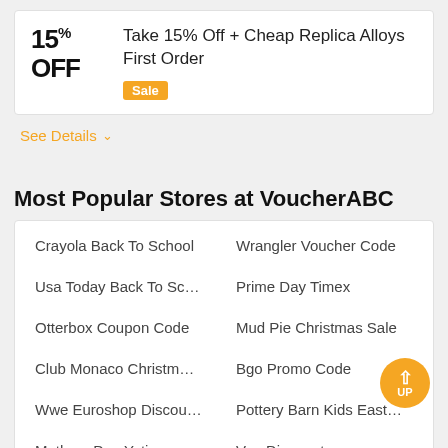15% OFF
Take 15% Off + Cheap Replica Alloys First Order
Sale
See Details
Most Popular Stores at VoucherABC
Crayola Back To School
Wrangler Voucher Code
Usa Today Back To Sc…
Prime Day Timex
Otterbox Coupon Code
Mud Pie Christmas Sale
Club Monaco Christm…
Bgo Promo Code
Wwe Euroshop Discou…
Pottery Barn Kids East…
Mothers Day Yeti
Vea Discount